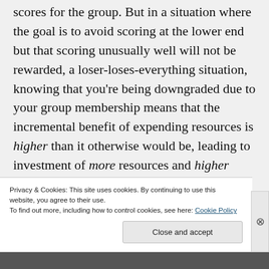scores for the group. But in a situation where the goal is to avoid scoring at the lower end but that scoring unusually well will not be rewarded, a loser-loses-everything situation, knowing that you're being downgraded due to your group membership means that the incremental benefit of expending resources is higher than it otherwise would be, leading to investment of more resources and higher scores for the group.
Privacy & Cookies: This site uses cookies. By continuing to use this website, you agree to their use. To find out more, including how to control cookies, see here: Cookie Policy
Close and accept